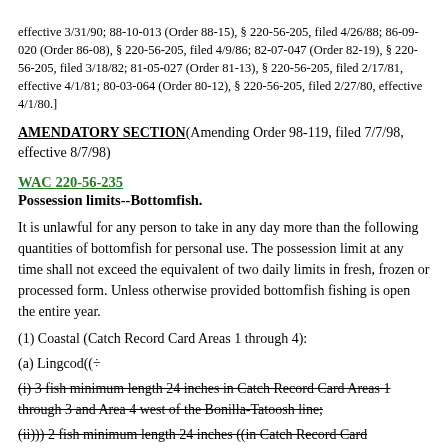effective 3/31/90; 88-10-013 (Order 88-15), § 220-56-205, filed 4/26/88; 86-09-020 (Order 86-08), § 220-56-205, filed 4/9/86; 82-07-047 (Order 82-19), § 220-56-205, filed 3/18/82; 81-05-027 (Order 81-13), § 220-56-205, filed 2/17/81, effective 4/1/81; 80-03-064 (Order 80-12), § 220-56-205, filed 2/27/80, effective 4/1/80.]
AMENDATORY SECTION(Amending Order 98-119, filed 7/7/98, effective 8/7/98)
WAC 220-56-235
Possession limits--Bottomfish.
It is unlawful for any person to take in any day more than the following quantities of bottomfish for personal use. The possession limit at any time shall not exceed the equivalent of two daily limits in fresh, frozen or processed form. Unless otherwise provided bottomfish fishing is open the entire year.
(1) Coastal (Catch Record Card Areas 1 through 4):
(a) Lingcod((÷
(i) 3 fish minimum length 24 inches in Catch Record Card Areas 1 through 3 and Area 4 west of the Bonilla-Tatoosh line;
(ii))) 2 fish minimum length 24 inches ((in Catch Record Card